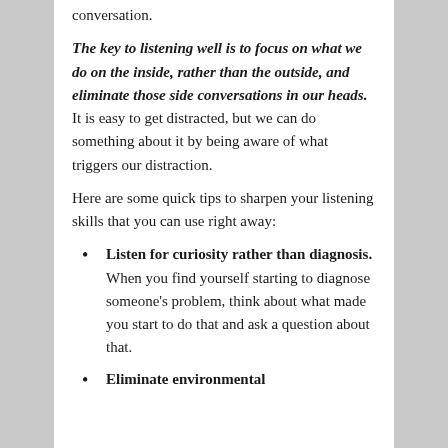conversation.
The key to listening well is to focus on what we do on the inside, rather than the outside, and eliminate those side conversations in our heads. It is easy to get distracted, but we can do something about it by being aware of what triggers our distraction.
Here are some quick tips to sharpen your listening skills that you can use right away:
Listen for curiosity rather than diagnosis. When you find yourself starting to diagnose someone's problem, think about what made you start to do that and ask a question about that.
Eliminate environmental